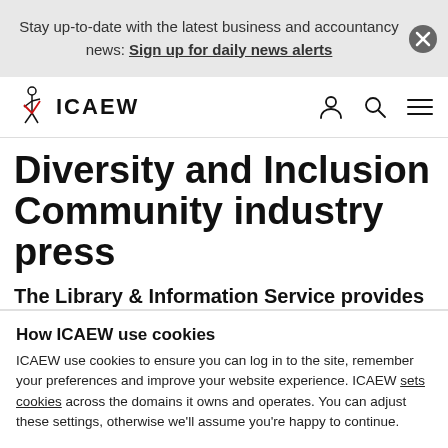Stay up-to-date with the latest business and accountancy news: Sign up for daily news alerts
[Figure (logo): ICAEW logo with knight figure and red chevron]
Diversity and Inclusion Community industry press
The Library & Information Service provides a
How ICAEW use cookies
ICAEW use cookies to ensure you can log in to the site, remember your preferences and improve your website experience. ICAEW sets cookies across the domains it owns and operates. You can adjust these settings, otherwise we'll assume you're happy to continue.